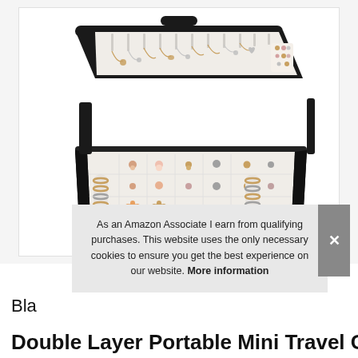[Figure (photo): Open black jewelry travel case showing two layers: lid interior with necklaces and earrings on white padding, and bottom tray with rings, earrings, and small compartments, all filled with gold and silver jewelry.]
As an Amazon Associate I earn from qualifying purchases. This website uses the only necessary cookies to ensure you get the best experience on our website. More information
Bla
Double Layer Portable Mini Travel Case